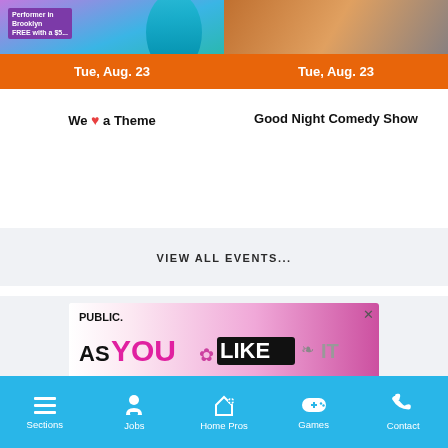[Figure (screenshot): Two event cards side by side. Left card: partial image of performer in Brooklyn with purple badge, orange date bar 'Tue, Aug. 23', title 'We ♥ a Theme'. Right card: partial image of people, orange date bar 'Tue, Aug. 23', title 'Good Night Comedy Show'.]
We ♥ a Theme
Good Night Comedy Show
VIEW ALL EVENTS...
[Figure (screenshot): Advertisement banner for Public Theater 'As You Like It' with pink and black design on light gray background with close X button]
Sections  Jobs  Home Pros  Games  Contact